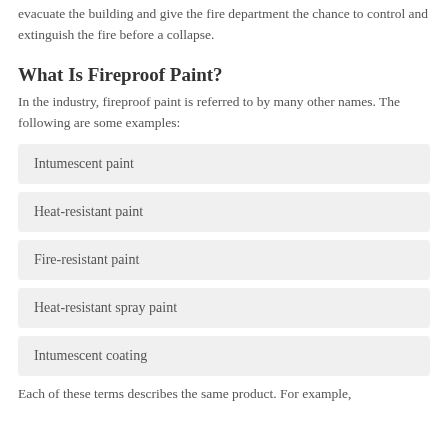evacuate the building and give the fire department the chance to control and extinguish the fire before a collapse.
What Is Fireproof Paint?
In the industry, fireproof paint is referred to by many other names. The following are some examples:
Intumescent paint
Heat-resistant paint
Fire-resistant paint
Heat-resistant spray paint
Intumescent coating
Each of these terms describes the same product. For example,